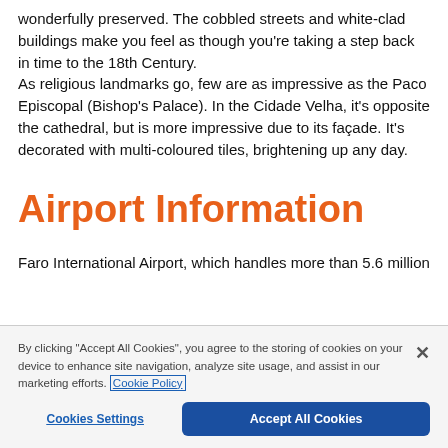wonderfully preserved. The cobbled streets and white-clad buildings make you feel as though you're taking a step back in time to the 18th Century.
As religious landmarks go, few are as impressive as the Paco Episcopal (Bishop's Palace). In the Cidade Velha, it's opposite the cathedral, but is more impressive due to its façade. It's decorated with multi-coloured tiles, brightening up any day.
Airport Information
Faro International Airport, which handles more than 5.6 million
By clicking "Accept All Cookies", you agree to the storing of cookies on your device to enhance site navigation, analyze site usage, and assist in our marketing efforts. Cookie Policy